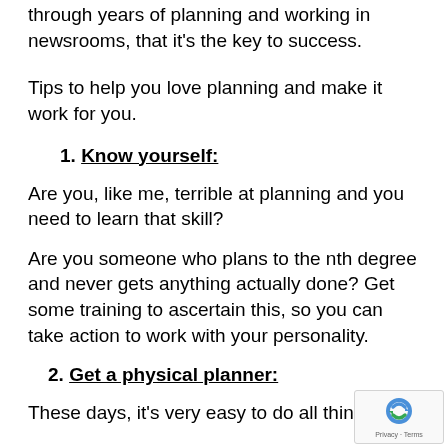through years of planning and working in newsrooms, that it's the key to success.
Tips to help you love planning and make it work for you.
1. Know yourself:
Are you, like me, terrible at planning and you need to learn that skill?
Are you someone who plans to the nth degree and never gets anything actually done? Get some training to ascertain this, so you can take action to work with your personality.
2. Get a physical planner:
These days, it's very easy to do all things